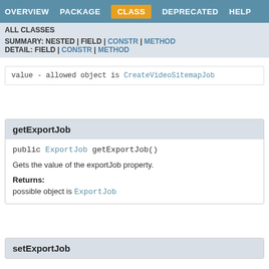OVERVIEW   PACKAGE   CLASS   DEPRECATED   HELP
ALL CLASSES
SUMMARY: NESTED | FIELD | CONSTR | METHOD
DETAIL: FIELD | CONSTR | METHOD
value - allowed object is CreateVideoSitemapJob
getExportJob
public ExportJob getExportJob()
Gets the value of the exportJob property.
Returns:
possible object is ExportJob
setExportJob